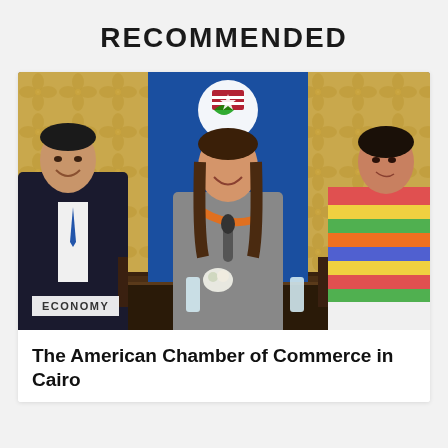RECOMMENDED
[Figure (photo): Three people seated at a panel event in front of a blue banner with the American Chamber of Commerce in Cairo logo. Left: a man in a dark suit with a blue tie smiling. Center: a woman in a gray dress with an orange scarf holding a microphone. Right: a woman in a colorful striped dress. The backdrop is ornate golden wallpaper.]
ECONOMY
The American Chamber of Commerce in Cairo